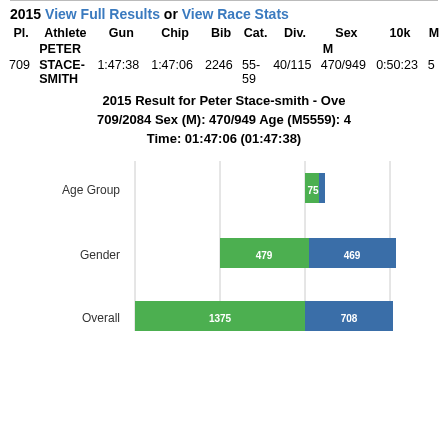2015 View Full Results or View Race Stats
| Pl. | Athlete | Gun | Chip | Bib | Cat. | Div. | Sex | 10k | M |
| --- | --- | --- | --- | --- | --- | --- | --- | --- | --- |
|  | PETER |  |  |  |  |  | M |  |  |
| 709 | STACE-SMITH | 1:47:38 | 1:47:06 | 2246 | 55-59 | 40/115 | 470/949 | 0:50:23 | 5 |
2015 Result for Peter Stace-smith - Ove 709/2084 Sex (M): 470/949 Age (M5559): 4 Time: 01:47:06 (01:47:38)
[Figure (grouped-bar-chart): Race Results Chart]